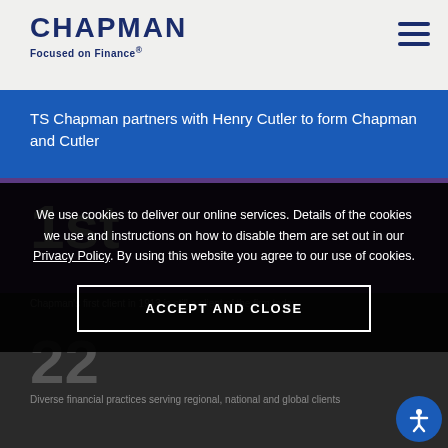CHAPMAN Focused on Finance®
TS Chapman partners with Henry Cutler to form Chapman and Cutler
1st
Chapman's first client in 1913 is still a client of the firm today.
We use cookies to deliver our online services. Details of the cookies we use and instructions on how to disable them are set out in our Privacy Policy. By using this website you agree to our use of cookies.
ACCEPT AND CLOSE
22
Diverse financial practices serving regional, national and global clients